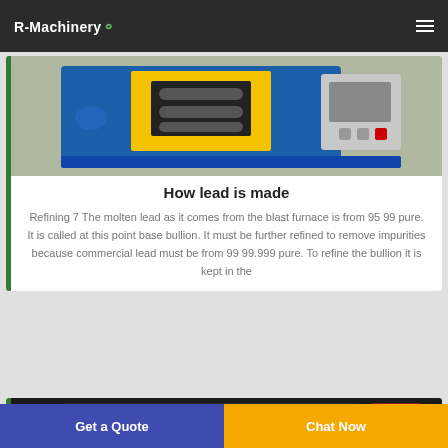R-Machinery
[Figure (photo): Industrial lead refining machine - blue and yellow metal frame with control panel, photographed outdoors]
How lead is made
Refining 7 The molten lead as it comes from the blast furnace is from 95 99 pure. It is called at this point base bullion. It must be further refined to remove impurities because commercial lead must be from 99 99.999 pure. To refine the bullion it is kept in the
[Figure (photo): Dark industrial machinery - partially visible at bottom of page]